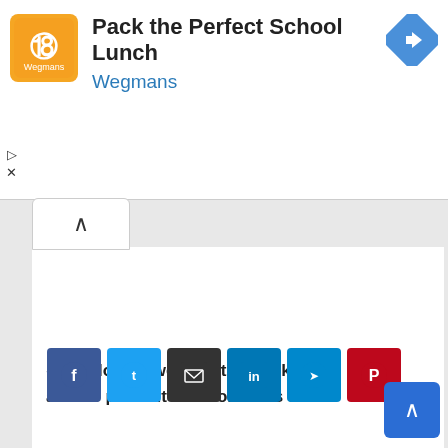[Figure (screenshot): Ad banner for Wegmans 'Pack the Perfect School Lunch' with orange logo, text, and blue navigation diamond icon]
[Figure (screenshot): Social share buttons row: Facebook, Twitter, Email, LinkedIn, Telegram, Pinterest]
« Dog lovers were able to prevent the Garth Brooks adored his 3 kids